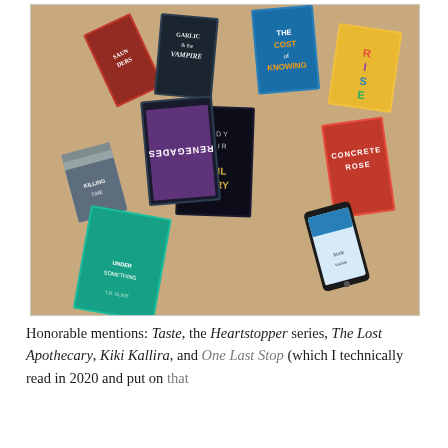[Figure (photo): A photo of multiple books arranged in a circle on a beige carpet. Visible titles include: Garlic and the Vampire, The Cost of Knowing, Andy Weir Project Hail Mary, Concrete Rose, Renegades, and others. A smartphone is also visible among the books.]
Honorable mentions: Taste, the Heartstopper series, The Lost Apothecary, Kiki Kallira, and One Last Stop (which I technically read in 2020 and put on that year's list but it wasn't published then)